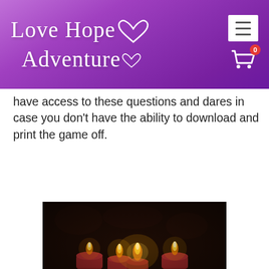Love Hope Adventure
have access to these questions and dares in case you don't have the ability to download and print the game off.
[Figure (photo): Photo of romantic candles - several red votive candles burning with warm golden flames arranged together against a dark ornate background, with decorative items around them.]